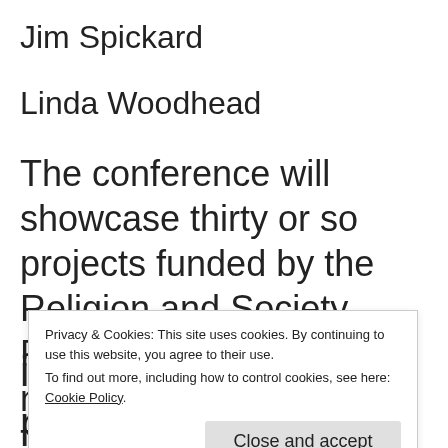Jim Spickard
Linda Woodhead
The conference will showcase thirty or so projects funded by the Religion and Society Programme which have new findings in this area. These will be supplemented
Privacy & Cookies: This site uses cookies. By continuing to use this website, you agree to their use.
To find out more, including how to control cookies, see here: Cookie Policy
individual paper proposals (max.